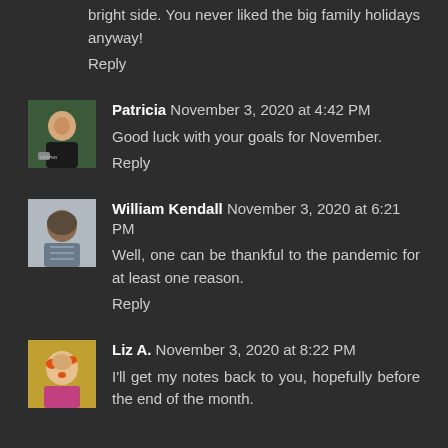bright side. You never liked the big family holidays anyway!
Reply
[Figure (photo): Avatar photo of Patricia, a person wearing a dark t-shirt outdoors]
Patricia November 3, 2020 at 4:42 PM
Good luck with your goals for November.
Reply
[Figure (photo): Avatar photo of William Kendall, a bald man in a striped shirt]
William Kendall November 3, 2020 at 6:21 PM
Well, one can be thankful to the pandemic for at least one reason.
Reply
[Figure (photo): Avatar photo of Liz A., a woman with face paint]
Liz A. November 3, 2020 at 8:22 PM
I'll get my notes back to you, hopefully before the end of the month.